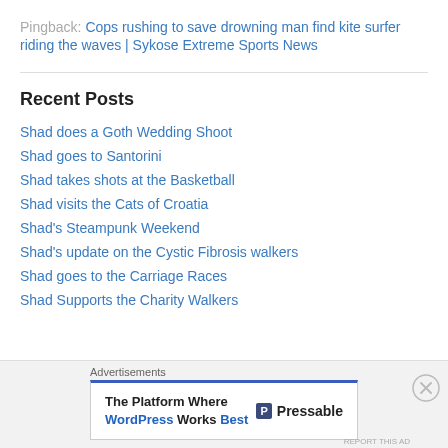Pingback: Cops rushing to save drowning man find kite surfer riding the waves | Sykose Extreme Sports News
Recent Posts
Shad does a Goth Wedding Shoot
Shad goes to Santorini
Shad takes shots at the Basketball
Shad visits the Cats of Croatia
Shad's Steampunk Weekend
Shad's update on the Cystic Fibrosis walkers
Shad goes to the Carriage Races
Shad Supports the Charity Walkers
Advertisements — The Platform Where WordPress Works Best — Pressable